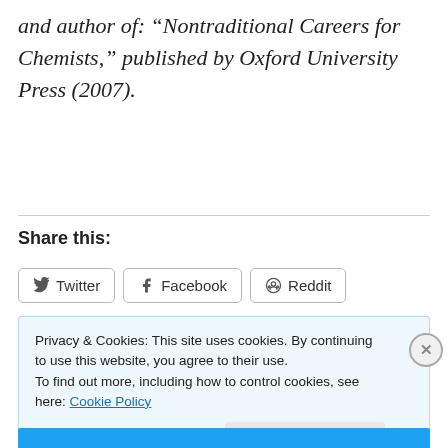and author of: “Nontraditional Careers for Chemists,” published by Oxford University Press (2007).
Share this:
Twitter Facebook Reddit
Privacy & Cookies: This site uses cookies. By continuing to use this website, you agree to their use.
To find out more, including how to control cookies, see here: Cookie Policy